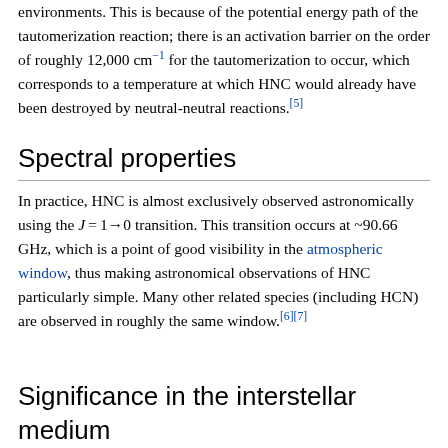10⁻¹; and is in fact on the order of unity in cold environments. This is because of the potential energy path of the tautomerization reaction; there is an activation barrier on the order of roughly 12,000 cm⁻¹ for the tautomerization to occur, which corresponds to a temperature at which HNC would already have been destroyed by neutral-neutral reactions.[5]
Spectral properties
In practice, HNC is almost exclusively observed astronomically using the J = 1→ 0 transition. This transition occurs at ~90.66 GHz, which is a point of good visibility in the atmospheric window, thus making astronomical observations of HNC particularly simple. Many other related species (including HCN) are observed in roughly the same window.[6][7]
Significance in the interstellar medium